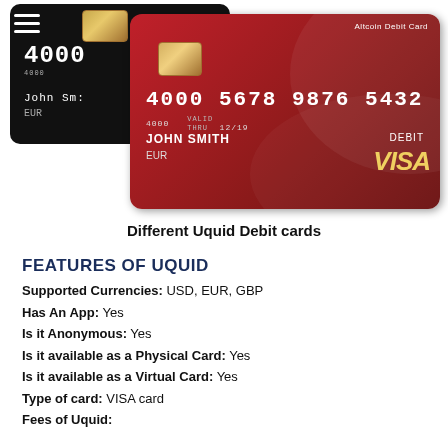[Figure (photo): Two Uquid debit cards: a black card and a red Visa debit card labeled 'Altcoin Debit Card', both showing card number 4000 5678 9876 5432, holder John Smith, EUR, valid thru 12/19]
Different Uquid Debit cards
FEATURES OF UQUID
Supported Currencies: USD, EUR, GBP
Has An App: Yes
Is it Anonymous: Yes
Is it available as a Physical Card: Yes
Is it available as a Virtual Card: Yes
Type of card: VISA card
Fees of Uquid: